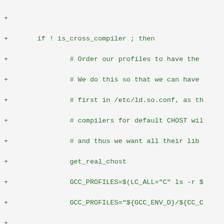[Figure (screenshot): Diff/patch view of a shell script showing added lines (prefixed with +) in green monospace font. The code shows bash shell logic for handling GCC profiles and LDPATH configuration, including conditionals, variable assignments, and loops.]